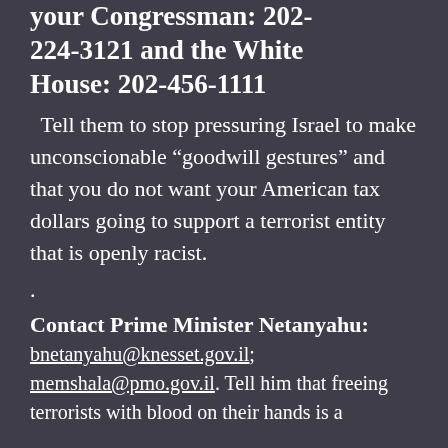your Congressman: 202-224-3121 and the White House: 202-456-1111
Tell them to stop pressuring Israel to make unconscionable “goodwill gestures” and that you do not want your American tax dollars going to support a terrorist entity that is openly racist.
.
Contact Prime Minister Netanyahu: bnetanyahu@knesset.gov.il; memshala@pmo.gov.il. Tell him that freeing terrorists with blood on their hands is a